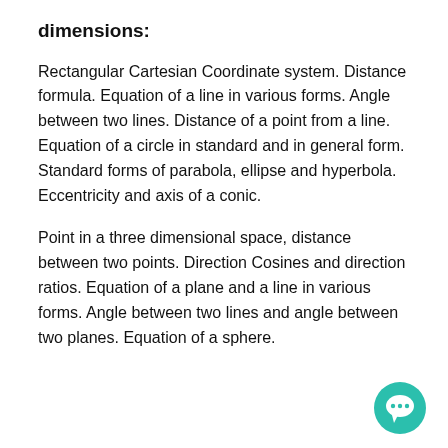dimensions:
Rectangular Cartesian Coordinate system. Distance formula. Equation of a line in various forms. Angle between two lines. Distance of a point from a line. Equation of a circle in standard and in general form. Standard forms of parabola, ellipse and hyperbola. Eccentricity and axis of a conic.
Point in a three dimensional space, distance between two points. Direction Cosines and direction ratios. Equation of a plane and a line in various forms. Angle between two lines and angle between two planes. Equation of a sphere.
[Figure (illustration): Teal/green circular chat bubble icon with three dots, positioned at bottom right corner]